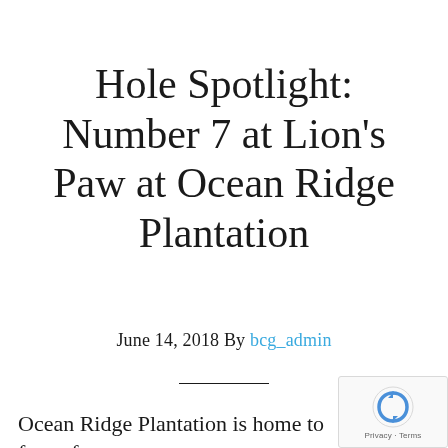Hole Spotlight: Number 7 at Lion's Paw at Ocean Ridge Plantation
June 14, 2018 By bcg_admin
Ocean Ridge Plantation is home to four of...